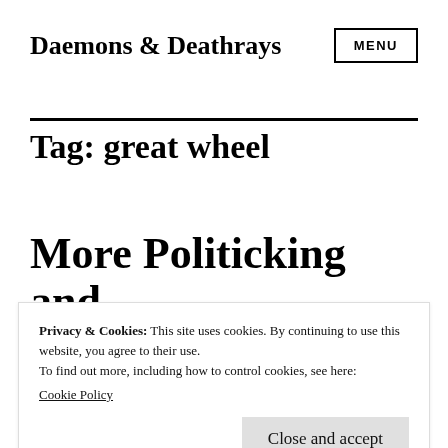Daemons & Deathrays
Tag: great wheel
More Politicking and
Privacy & Cookies: This site uses cookies. By continuing to use this website, you agree to their use.
To find out more, including how to control cookies, see here:
Cookie Policy
Close and accept